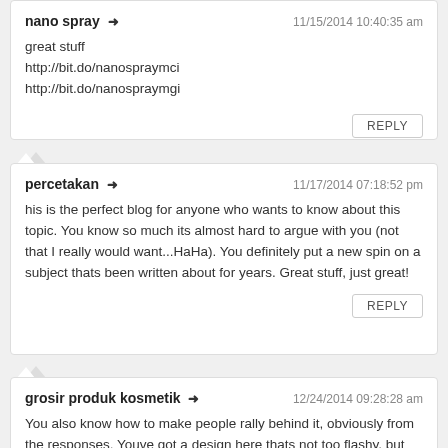nano spray ➜
great stuff
http://bit.do/nanospraymci
http://bit.do/nanospraymgi
percetakan ➜
his is the perfect blog for anyone who wants to know about this topic. You know so much its almost hard to argue with you (not that I really would want...HaHa). You definitely put a new spin on a subject thats been written about for years. Great stuff, just great!
grosir produk kosmetik ➜
You also know how to make people rally behind it, obviously from the responses. Youve got a design here thats not too flashy, but makes a statement as big as what youre saying. Great job, indeed.